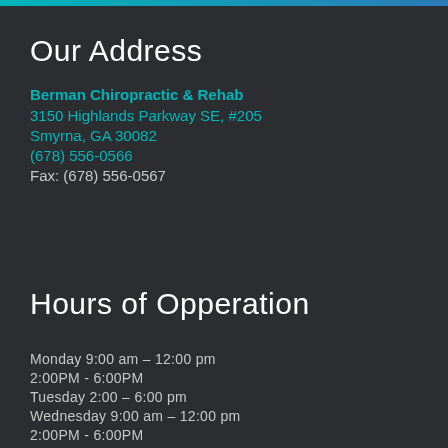Our Address
Berman Chiropractic & Rehab
3150 Highlands Parkway SE, #205
Smyrna, GA 30082
(678) 556-0566
Fax: (678) 556-0567
Hours of Opperation
Monday 9:00 am – 12:00 pm
2:00PM - 6:00PM
Tuesday 2:00 – 6:00 pm
Wednesday 9:00 am – 12:00 pm
2:00PM - 6:00PM